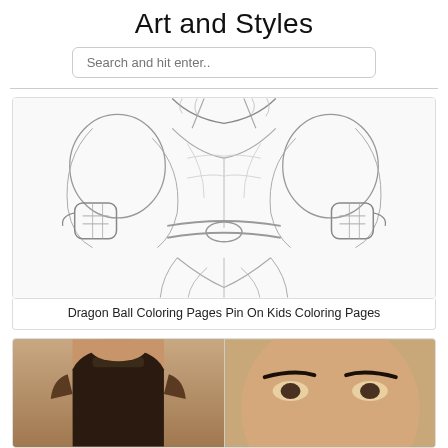Art and Styles
Search and hit enter..
[Figure (illustration): Dragon Ball coloring page line drawing showing a muscular character (Goku) with clenched fists raised, cropped at torso, wearing a gi with belt, detailed linework style.]
Dragon Ball Coloring Pages Pin On Kids Coloring Pages
[Figure (photo): Two-panel photo showing a woman in dark warrior/cosplay costume on the left, and a close-up of a woman's face on the right with styled brows.]